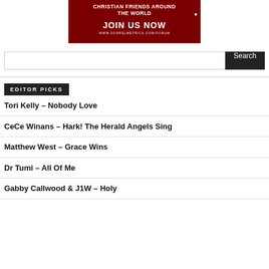[Figure (other): Dark red banner advertisement for GospelMetrics.com/forum with text 'CHRISTIAN FRIENDS AROUND THE WORLD', 'JOIN US NOW', and 'WWW.GOSPELMETRICS.COM/FORUM']
Search
EDITOR PICKS
Tori Kelly – Nobody Love
CeCe Winans – Hark! The Herald Angels Sing
Matthew West – Grace Wins
Dr Tumi – All Of Me
Gabby Callwood & J1W – Holy